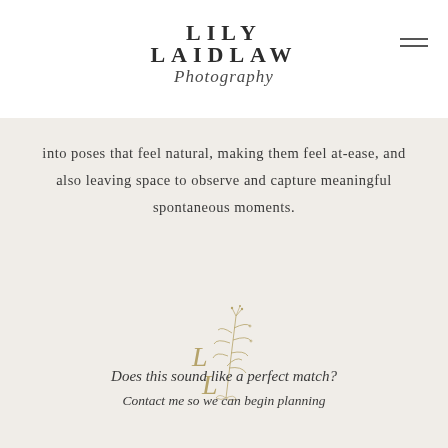LILY LAIDLAW Photography
into poses that feel natural, making them feel at-ease, and also leaving space to observe and capture meaningful spontaneous moments.
[Figure (logo): Lily Laidlaw Photography monogram logo with stylized botanical illustration and L L initials in gold/olive tone]
Does this sound like a perfect match? Contact me so we can begin planning